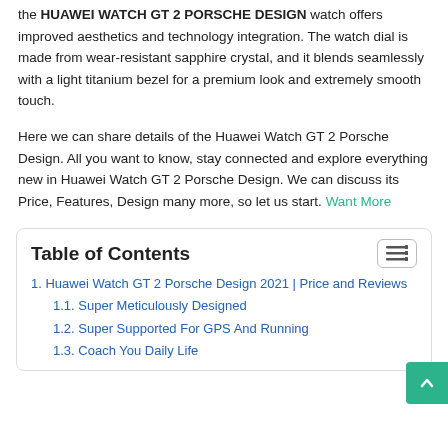the HUAWEI WATCH GT 2 PORSCHE DESIGN watch offers improved aesthetics and technology integration. The watch dial is made from wear-resistant sapphire crystal, and it blends seamlessly with a light titanium bezel for a premium look and extremely smooth touch.
Here we can share details of the Huawei Watch GT 2 Porsche Design. All you want to know, stay connected and explore everything new in Huawei Watch GT 2 Porsche Design. We can discuss its Price, Features, Design many more, so let us start. Want More
| Table of Contents |
| --- |
| 1. Huawei Watch GT 2 Porsche Design 2021 | Price and Reviews |
| 1.1. Super Meticulously Designed |
| 1.2. Super Supported For GPS And Running |
| 1.3. Coach You Daily Life |